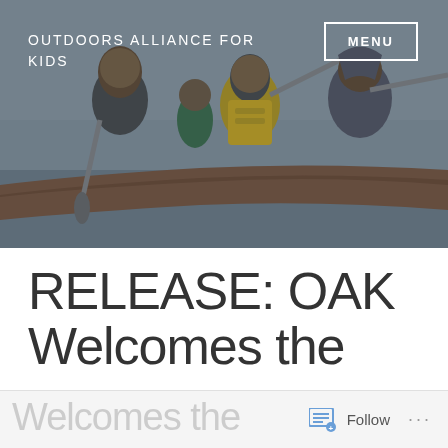[Figure (photo): Children paddling in a wooden canoe on water, wearing life vests and outdoor jackets, photographed from the side. Header image for Outdoors Alliance for Kids website.]
OUTDOORS ALLIANCE FOR KIDS
RELEASE: OAK Welcomes the
Follow ...